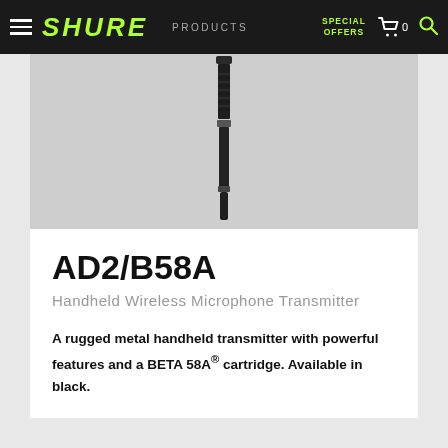SHURE | PRODUCTS | SPECIAL OFFERS | 0
[Figure (photo): Shure AD2/B58A handheld wireless microphone transmitter shown vertically against a light gray background, displaying the black metal body of the microphone transmitter.]
AD2/B58A
Handheld Wireless Microphone Transmitter
A rugged metal handheld transmitter with powerful features and a BETA 58A® cartridge. Available in black.